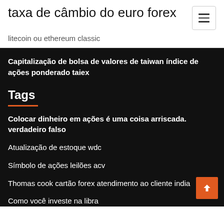taxa de câmbio do euro forex
litecoin ou ethereum classic
Capitalização de bolsa de valores de taiwan índice de ações ponderado taiex
Tags
Colocar dinheiro em ações é uma coisa arriscada. verdadeiro falso
Atualização de estoque wdc
Símbolo de ações leilões acv
Thomas cook cartão forex atendimento ao cliente india
Como você investe na libra